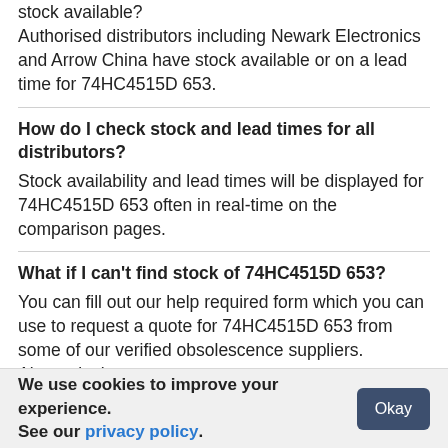stock available? Authorised distributors including Newark Electronics and Arrow China have stock available or on a lead time for 74HC4515D 653.
How do I check stock and lead times for all distributors?
Stock availability and lead times will be displayed for 74HC4515D 653 often in real-time on the comparison pages.
What if I can't find stock of 74HC4515D 653?
You can fill out our help required form which you can use to request a quote for 74HC4515D 653 from some of our verified obsolescence suppliers. Alternatively,
We use cookies to improve your experience. See our privacy policy.